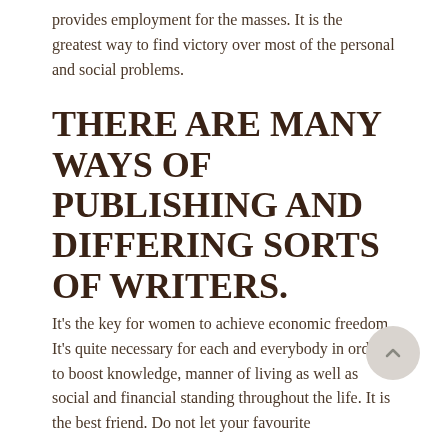provides employment for the masses. It is the greatest way to find victory over most of the personal and social problems.
THERE ARE MANY WAYS OF PUBLISHING AND DIFFERING SORTS OF WRITERS.
It's the key for women to achieve economic freedom. It's quite necessary for each and everybody in order to boost knowledge, manner of living as well as social and financial standing throughout the life. It is the best friend. Do not let your favourite